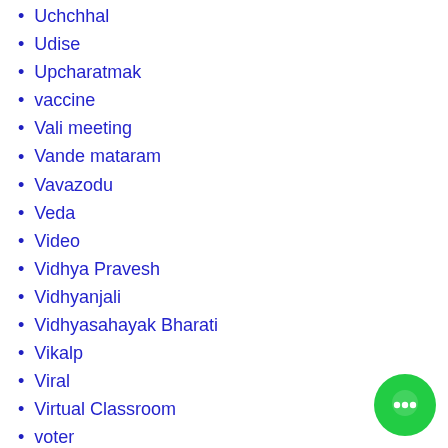Uchchhal
Udise
Upcharatmak
vaccine
Vali meeting
Vande mataram
Vavazodu
Veda
Video
Vidhya Pravesh
Vidhyanjali
Vidhyasahayak Bharati
Vikalp
Viral
Virtual Classroom
voter
Weather
Whatsapp Group
Whatsapp Test
[Figure (illustration): Green circular chat button with three dots icon in bottom right corner]